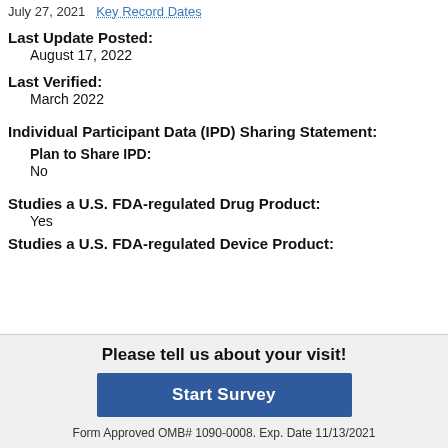July 27, 2021   Key Record Dates
Last Update Posted:
August 17, 2022
Last Verified:
March 2022
Individual Participant Data (IPD) Sharing Statement:
Plan to Share IPD:
No
Studies a U.S. FDA-regulated Drug Product:
Yes
Studies a U.S. FDA-regulated Device Product:
Please tell us about your visit!
Start Survey
Form Approved OMB# 1090-0008. Exp. Date 11/13/2021